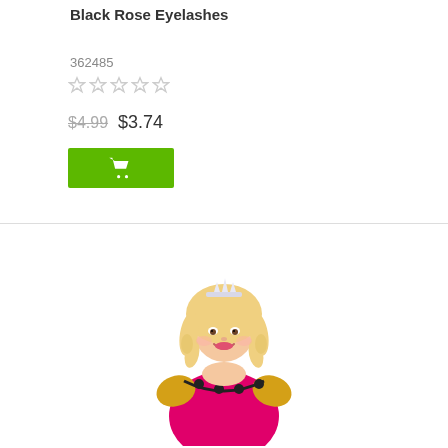Black Rose Eyelashes
362485
★☆☆☆☆ (0 stars)
$4.99  $3.74
[Figure (photo): Woman wearing a blonde curly princess wig with tiara and a hot pink and gold costume with black lace trim]